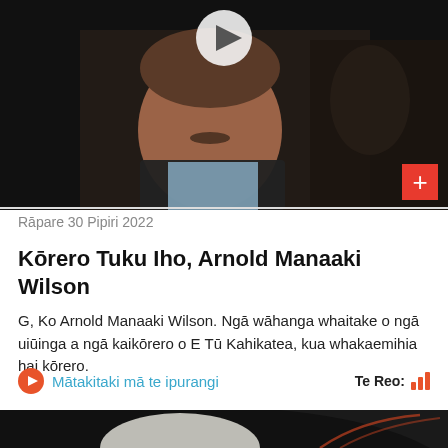[Figure (photo): An elderly man with a moustache wearing a dark vest over a light shirt, seated in a dark room. A play button icon is visible at the top center, and a red plus button is in the bottom right corner.]
Rāpare 30 Pipiri 2022
Kōrero Tuku Iho, Arnold Manaaki Wilson
G, Ko Arnold Manaaki Wilson. Ngā wāhanga whaitake o ngā uiūinga a ngā kaikōrero o E Tū Kahikatea, kua whakaemihia hai kōrero.
Mātakitaki mā te ipurangi
[Figure (photo): Partial view of the top of an elderly person's head with white hair, on a dark background with a faint circular design.]